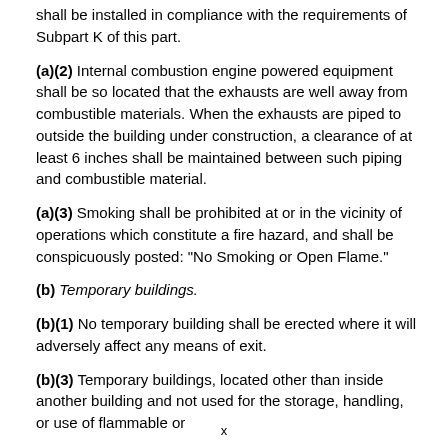shall be installed in compliance with the requirements of Subpart K of this part.
(a)(2) Internal combustion engine powered equipment shall be so located that the exhausts are well away from combustible materials. When the exhausts are piped to outside the building under construction, a clearance of at least 6 inches shall be maintained between such piping and combustible material.
(a)(3) Smoking shall be prohibited at or in the vicinity of operations which constitute a fire hazard, and shall be conspicuously posted: "No Smoking or Open Flame."
(b) Temporary buildings.
(b)(1) No temporary building shall be erected where it will adversely affect any means of exit.
(b)(3) Temporary buildings, located other than inside another building and not used for the storage, handling, or use of flammable or
x